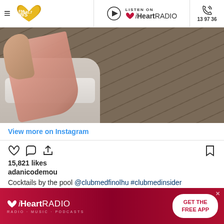WSFM 101.7 | LISTEN ON iHeartRADIO | 13 97 36
[Figure (photo): Instagram photo showing a pink/peach towel on what appears to be a bed or lounger, with wooden deck planks in the background.]
View more on Instagram
15,821 likes
adanicodemou
Cocktails by the pool @clubmedfinolhu #clubmedinsider #islandholiday #cocktails #mojito
view all 381 comments
[Figure (screenshot): iHeartRADIO advertisement banner with red background and 'GET THE FREE APP' button.]